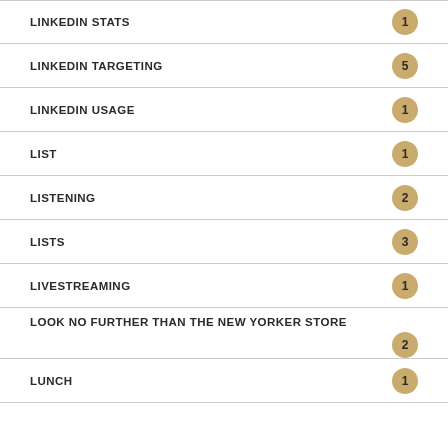LINKEDIN STATS
LINKEDIN TARGETING
LINKEDIN USAGE
LIST
LISTENING
LISTS
LIVESTREAMING
LOOK NO FURTHER THAN THE NEW YORKER STORE
LUNCH